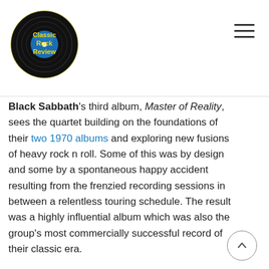Classic Rock Review
Black Sabbath's third album, Master of Reality, sees the quartet building on the foundations of their two 1970 albums and exploring new fusions of heavy rock n roll. Some of this was by design and some by a spontaneous happy accident resulting from the frenzied recording sessions in between a relentless touring schedule. The result was a highly influential album which was also the group's most commercially successful record of their classic era.
Recorded in late 1969, the group's self-tiled debut album contained a heavy dose of dark themes but was a surprise